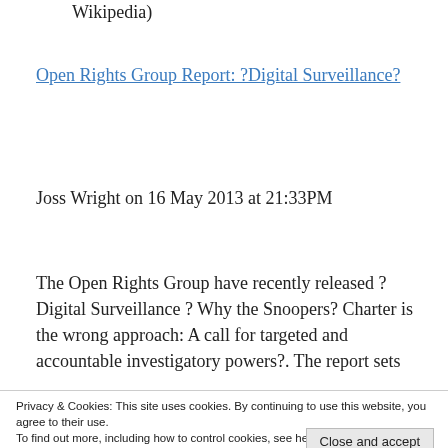Wikipedia)
Open Rights Group Report: ?Digital Surveillance?
Joss Wright on 16 May 2013 at 21:33PM
The Open Rights Group have recently released ? Digital Surveillance ? Why the Snoopers? Charter is the wrong approach: A call for targeted and accountable investigatory powers?. The report sets
Privacy & Cookies: This site uses cookies. By continuing to use this website, you agree to their use. To find out more, including how to control cookies, see here: Cookie Policy
Close and accept